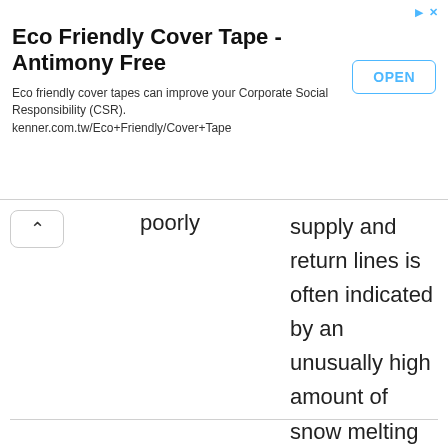[Figure (other): Advertisement banner for Eco Friendly Cover Tape - Antimony Free by kenner.com.tw with an OPEN button]
poorly
supply and return lines is often indicated by an unusually high amount of snow melting above the lines when the ground temperature is 10° F or colder.